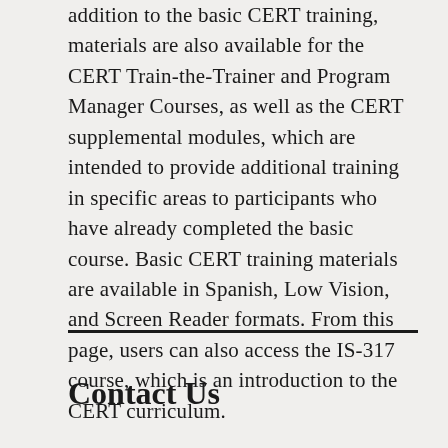addition to the basic CERT training, materials are also available for the CERT Train-the-Trainer and Program Manager Courses, as well as the CERT supplemental modules, which are intended to provide additional training in specific areas to participants who have already completed the basic course. Basic CERT training materials are available in Spanish, Low Vision, and Screen Reader formats. From this page, users can also access the IS-317 course, which is an introduction to the CERT curriculum.
Contact Us